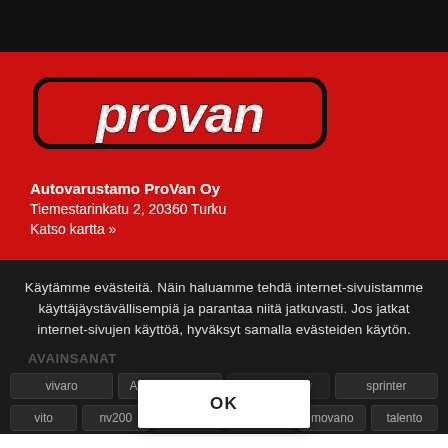[Figure (logo): ProVan logo in stylized italic white lettering with red and dark border, on red background]
Autovarustamo ProVan Oy
Tiemestarinkatu 2, 20360 Turku
Katso kartta »
Käytämme evästeitä. Näin haluamme tehdä internet-sivuistamme käyttäjäystävällisempiä ja parantaa niitä jatkuvasti. Jos jatkat internet-sivujen käyttöä, hyväksyt samalla evästeiden käytön.
AVAINSANAT
vivaro | Autovarustamo | o ProVan Oy | sprinter | vito | nv200 | ProVan Oy | transporter | movano | talento
OK